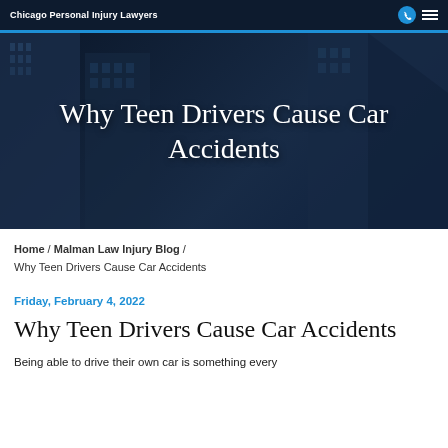Chicago Personal Injury Lawyers
[Figure (photo): Hero image with dark navy overlay showing city buildings (skyscrapers) in the background, with large white serif title text overlaid: 'Why Teen Drivers Cause Car Accidents']
Why Teen Drivers Cause Car Accidents
Home / Malman Law Injury Blog / Why Teen Drivers Cause Car Accidents
Friday, February 4, 2022
Why Teen Drivers Cause Car Accidents
Being able to drive their own car is something every